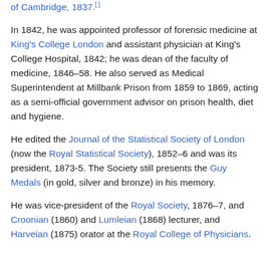of Cambridge, 1837.
In 1842, he was appointed professor of forensic medicine at King's College London and assistant physician at King's College Hospital, 1842; he was dean of the faculty of medicine, 1846–58. He also served as Medical Superintendent at Millbank Prison from 1859 to 1869, acting as a semi-official government advisor on prison health, diet and hygiene.
He edited the Journal of the Statistical Society of London (now the Royal Statistical Society), 1852–6 and was its president, 1873-5. The Society still presents the Guy Medals (in gold, silver and bronze) in his memory.
He was vice-president of the Royal Society, 1876–7, and Croonian (1860) and Lumleian (1868) lecturer, and Harveian (1875) orator at the Royal College of Physicians.